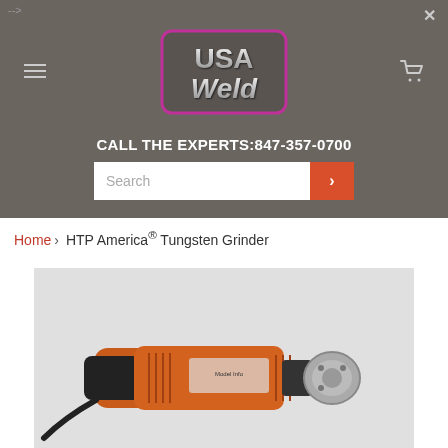-->
[Figure (logo): USA Weld logo with metallic silver lettering and pink/magenta border on dark grey background]
CALL THE EXPERTS:847-357-0700
Search
Home › HTP America® Tungsten Grinder
[Figure (photo): HTP America Tungsten Grinder - orange and black power tool with silver grinding attachment, shown on white background]